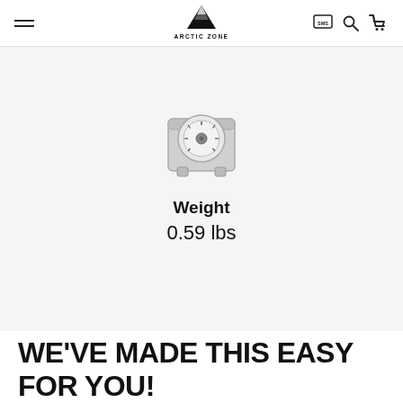Arctic Zone
[Figure (illustration): Icon of a kitchen scale / weighing scale, square body with round dial face showing tick marks, on small feet, drawn in gray tones]
Weight
0.59 lbs
WE'VE MADE THIS EASY FOR YOU!